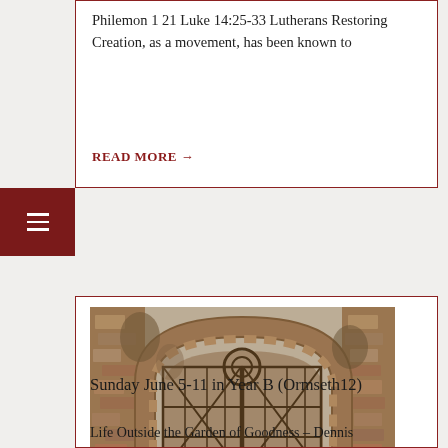Philemon 1 21 Luke 14:25-33 Lutherans Restoring Creation, as a movement, has been known to
READ MORE →
[Figure (photo): Sepia-toned photograph of an ornate iron gate set within a stone archway with ivy, stone wall background]
Sunday June 5-11 in Year B (Ormseth12)
Life Outside the Garden of Goodness – Dennis